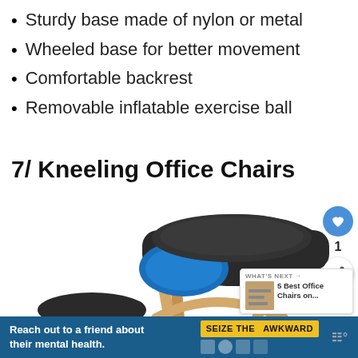Sturdy base made of nylon or metal
Wheeled base for better movement
Comfortable backrest
Removable inflatable exercise ball
7/ Kneeling Office Chairs
[Figure (photo): A kneeling office chair with black padded seat and blue foam insert visible, with wooden frame legs, shown from an angle. Social sharing buttons and a 'What's Next' panel overlay on the right side.]
WHAT'S NEXT → 5 Best Office Chairs on...
Reach out to a friend about their mental health. SEIZE THE AWKWARD